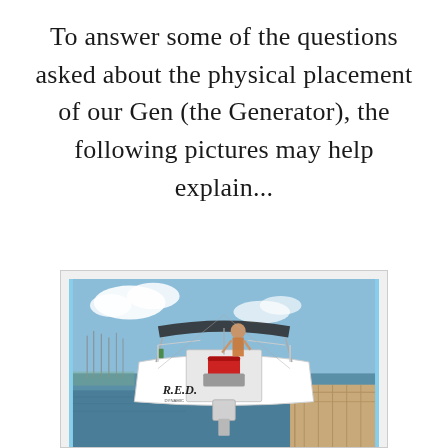To answer some of the questions asked about the physical placement of our Gen (the Generator), the following pictures may help explain...
[Figure (photo): Rear view of a sailboat named R.E.D. docked at a marina. A person is visible on the stern. The boat has a motor on the back, a red cooler visible, and is moored next to a wooden dock. Blue sky with clouds in the background.]